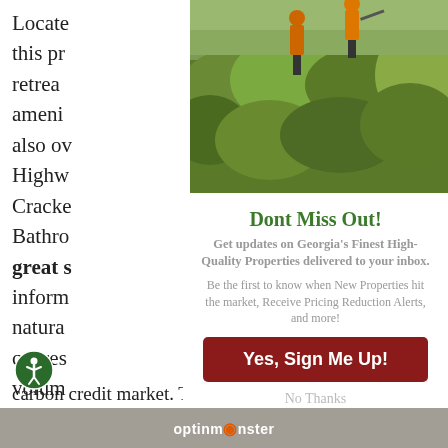[Figure (photo): Two hunters in orange vests walking through dense brushy terrain]
Locate
this pr
retrea
ameni
also ov
Highw
Cracke
Bathro
great s
inforn
natura
cypres
volum
er
carbon credit market. The entire property is
Dont Miss Out!
Get updates on Georgia's Finest High-Quality Properties delivered to your inbox.
Be the first to know when New Properties hit the market, Receive Pricing Reduction Alerts, and more!
Yes, Sign Me Up!
No Thanks
optinm nster